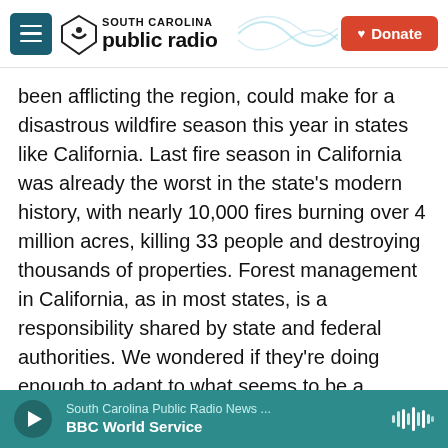[Figure (logo): South Carolina Public Radio logo with hamburger menu and Donate button]
been afflicting the region, could make for a disastrous wildfire season this year in states like California. Last fire season in California was already the worst in the state's modern history, with nearly 10,000 fires burning over 4 million acres, killing 33 people and destroying thousands of properties. Forest management in California, as in most states, is a responsibility shared by state and federal authorities. We wondered if they're doing enough to adapt to what seems to be a growing threat from wildfires year after year. To help us answer that question, we called Scott Stephens. He's a professor at the University of California...
South Carolina Public Radio News ... BBC World Service